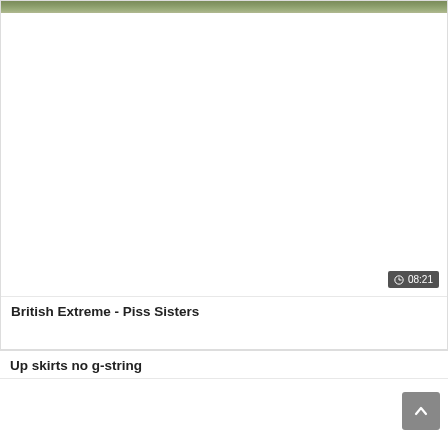[Figure (screenshot): Thumbnail image strip at top of first video card, showing partial outdoor scene]
British Extreme - Piss Sisters
[Figure (screenshot): Blank white video thumbnail area with duration badge showing 08:21]
Up skirts no g-string
[Figure (screenshot): Partial blank white thumbnail of third video card with scroll-to-top button]